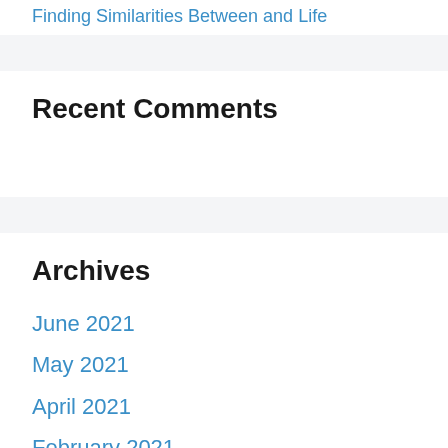Finding Similarities Between and Life
Recent Comments
Archives
June 2021
May 2021
April 2021
February 2021
January 2021